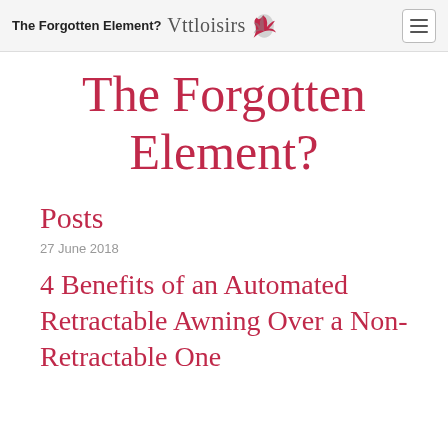The Forgotten Element? | Vttloisirs
The Forgotten Element?
Posts
27 June 2018
4 Benefits of an Automated Retractable Awning Over a Non-Retractable One